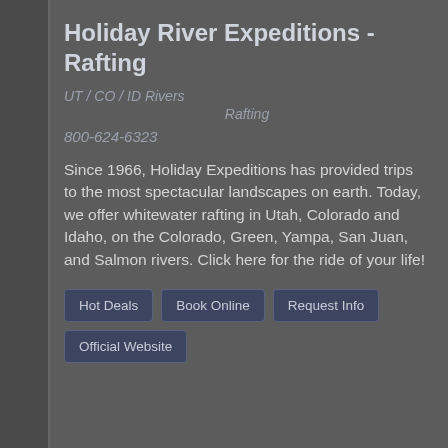Holiday River Expeditions - Rafting
UT / CO / ID Rivers
Rafting
800-624-6323
Since 1966, Holiday Expeditions has provided trips to the most spectacular landscapes on earth. Today, we offer whitewater rafting in Utah, Colorado and Idaho, on the Colorado, Green, Yampa, San Juan, and Salmon rivers. Click here for the ride of your life!
Hot Deals
Book Online
Request Info
Official Website